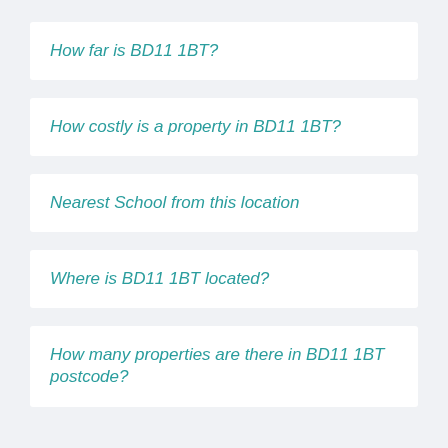How far is BD11 1BT?
How costly is a property in BD11 1BT?
Nearest School from this location
Where is BD11 1BT located?
How many properties are there in BD11 1BT postcode?